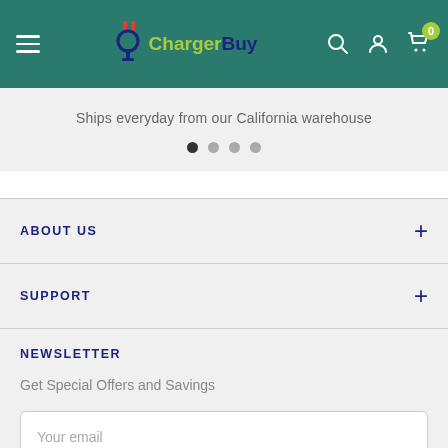ChargerBuy - navigation header with menu, logo, search, account, and cart icons
Ships everyday from our California warehouse
[Figure (other): Carousel dot indicators: 4 dots, first one active (dark), rest inactive (gray)]
ABOUT US
SUPPORT
NEWSLETTER
Get Special Offers and Savings
Your email